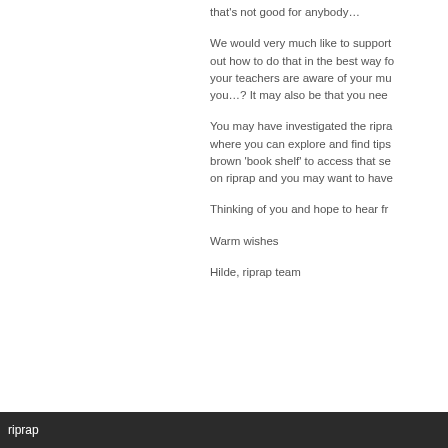that's not good for anybody…
We would very much like to support out how to do that in the best way fo your teachers are aware of your mu you…? It may also be that you nee
You may have investigated the ripra where you can explore and find tips brown 'book shelf' to access that se on riprap and you may want to have
Thinking of you and hope to hear fro
Warm wishes
Hilde, riprap team
riprap